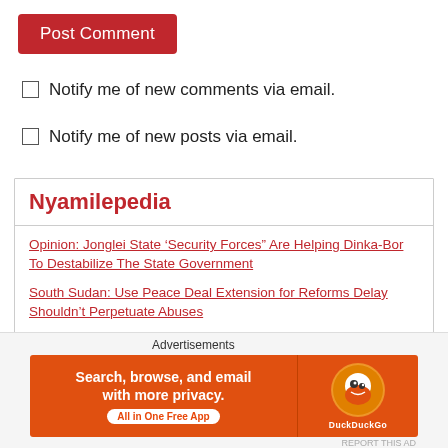Post Comment
Notify me of new comments via email.
Notify me of new posts via email.
Nyamilepedia
Opinion: Jonglei State ‘Security Forces” Are Helping Dinka-Bor To Destabilize The State Government
South Sudan: Use Peace Deal Extension for Reforms Delay Shouldn’t Perpetuate Abuses
[Figure (photo): Two side-by-side news photos: left showing an indoor gathering/hall scene with warm lighting, right showing people in formal dress including someone in white.]
Advertisements
[Figure (infographic): DuckDuckGo advertisement banner: orange background with text 'Search, browse, and email with more privacy. All in One Free App' and DuckDuckGo logo on right side.]